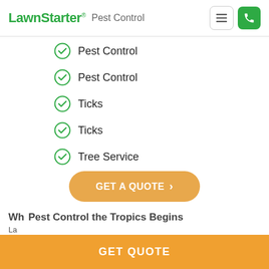LawnStarter® Pest Control
Pest Control
Pest Control
Ticks
Ticks
Tree Service
GET A QUOTE ›
Why Pest Control the Tropics Begins
La...
"where the tropics begin," sits 60 miles north of Miami. The city's